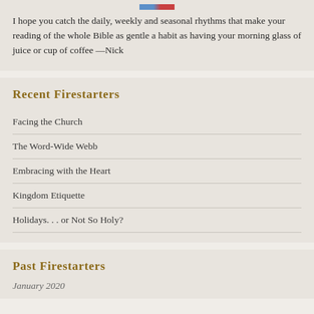[Figure (photo): Small thumbnail photo at top of card]
I hope you catch the daily, weekly and seasonal rhythms that make your reading of the whole Bible as gentle a habit as having your morning glass of juice or cup of coffee —Nick
Recent Firestarters
Facing the Church
The Word-Wide Webb
Embracing with the Heart
Kingdom Etiquette
Holidays. . . or Not So Holy?
Past Firestarters
January 2020